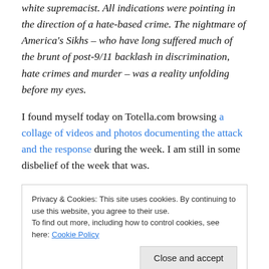white supremacist. All indications were pointing in the direction of a hate-based crime. The nightmare of America's Sikhs – who have long suffered much of the brunt of post-9/11 backlash in discrimination, hate crimes and murder – was a reality unfolding before my eyes.
I found myself today on Totella.com browsing a collage of videos and photos documenting the attack and the response during the week. I am still in some disbelief of the week that was.
Privacy & Cookies: This site uses cookies. By continuing to use this website, you agree to their use.
To find out more, including how to control cookies, see here: Cookie Policy
promising if we hope such an event will never occur again